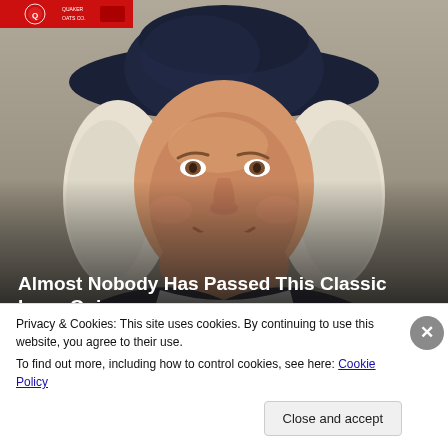[Figure (illustration): A small red logo strip at top left corner of the page, showing a partial advertisement or website header in red.]
[Figure (photo): Large portrait image of the Quaker Oats man wearing a dark cowboy hat, with white powdered wig, smiling face, dark clothing, against a gradient dark background overlay at bottom.]
Almost Nobody Has Passed This Classic Logo Quiz
WarpedSpeed
Privacy & Cookies: This site uses cookies. By continuing to use this website, you agree to their use.
To find out more, including how to control cookies, see here: Cookie Policy
Close and accept